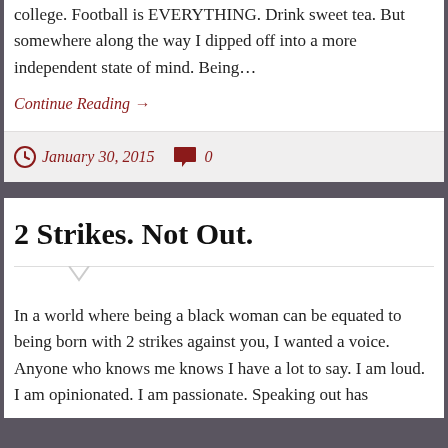college. Football is EVERYTHING. Drink sweet tea. But somewhere along the way I dipped off into a more independent state of mind. Being…
Continue Reading →
January 30, 2015   0
2 Strikes. Not Out.
In a world where being a black woman can be equated to being born with 2 strikes against you, I wanted a voice. Anyone who knows me knows I have a lot to say. I am loud. I am opinionated. I am passionate. Speaking out has